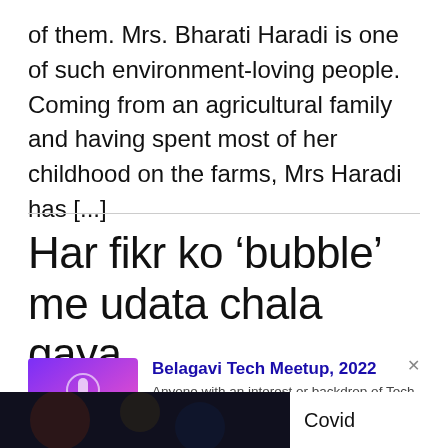of them. Mrs. Bharati Haradi is one of such environment-loving people. Coming from an agricultural family and having spent most of her childhood on the farms, Mrs Haradi has [...]
Har fikr ko ‘bubble’ me udata chala gaya
[Figure (screenshot): Card showing Belagavi Tech Meetup 2022 event with purple/pink gradient image on left, blue title text, description and UXgrowth source link in red]
[Figure (photo): Bottom strip showing partial dark photo on left and text 'Covid' on right]